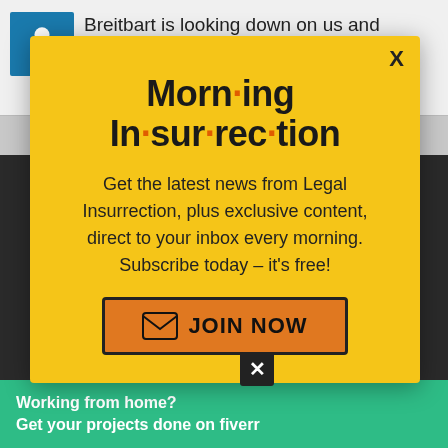Breitbart is looking down on us and saying, “C’monm it’s WAR!
Milwaukee | March 4, 2012 at 9:05 am
[Figure (screenshot): Yellow modal popup for Morning Insurrection newsletter with JOIN NOW button]
nothing compared to being barren. Infertility is a medical condition and a op
[Figure (screenshot): Small black X close button over dark background section]
Working from home?
Get your projects done on fiverr